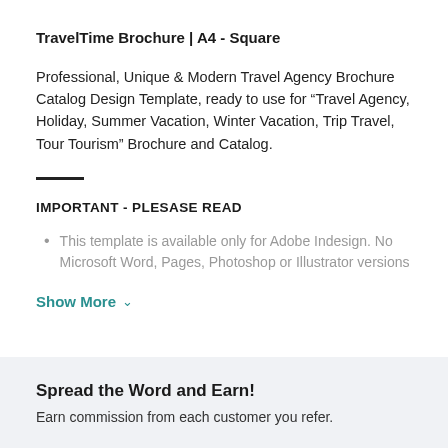TravelTime Brochure | A4 - Square
Professional, Unique & Modern Travel Agency Brochure Catalog Design Template, ready to use for “Travel Agency, Holiday, Summer Vacation, Winter Vacation, Trip Travel, Tour Tourism” Brochure and Catalog.
IMPORTANT - PLESASE READ
This template is available only for Adobe Indesign. No Microsoft Word, Pages, Photoshop or Illustrator versions
Show More ∨
Spread the Word and Earn!
Earn commission from each customer you refer.